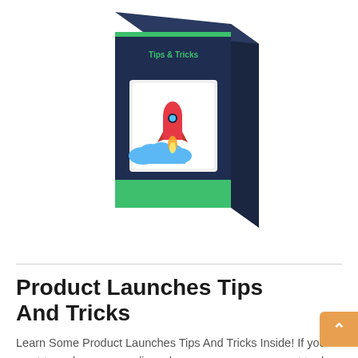[Figure (illustration): 3D book cover titled 'Tips & Tricks' with a rocket launching from clouds, dark navy background with green accent, displayed as a product box]
Product Launches Tips And Tricks
Learn Some Product Launches Tips And Tricks Inside! If you want to make money online, chances are you may want to do some freelance work, affiliate marketing and the likes. But if you want to make an empire making over a million, launching your ...
Submitted: 24/05/2017
Size: 10.22 MB